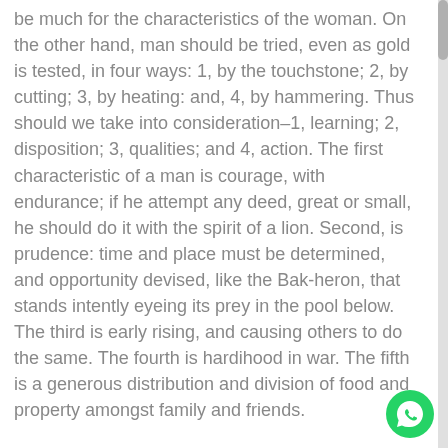be tried, even as gold is tested, in four ways: 1, by the touchstone; 2, by cutting; 3, by heating: and, 4, by hammering. Thus should we take into consideration–1, learning; 2, disposition; 3, qualities; and 4, action. The first characteristic of a man is courage, with endurance; if he attempt any deed, great or small, he should do it with the spirit of a lion. Second, is prudence: time and place must be determined, and opportunity devised, like the Bak-heron, that stands intently eyeing its prey in the pool below. The third is early rising, and causing others to do the same. The fourth is hardihood in war. The fifth is a generous distribution and division of food and property amongst family and friends.
The sixth is duly attending to the wants of the wife. The seventh is circumspection in love matters. The eighth is secrecy and privacy in the venereal act. The ninth is patience and perseverance in all the business of life. The tenth is judgment in collecting and in storing up what may be necessary. The eleventh is not to allow wealth and